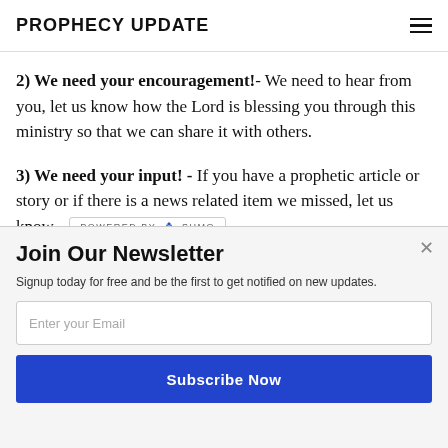PROPHECY UPDATE
2) We need your encouragement!- We need to hear from you, let us know how the Lord is blessing you through this ministry so that we can share it with others.
3) We need your input! - If you have a prophetic article or story or if there is a news related item we missed, let us know.
[Figure (logo): POWERED BY SUMO badge/logo]
Join Our Newsletter
Signup today for free and be the first to get notified on new updates.
Enter your Email
Subscribe Now